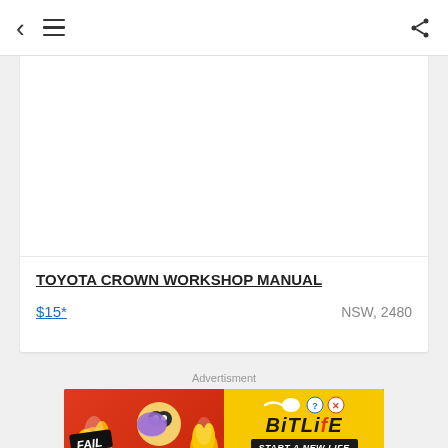< ≡ [share]
TOYOTA CROWN WORKSHOP MANUAL
$15*
NSW, 2480
Advertisment
[Figure (illustration): BitLife advertisement banner with FAIL badge, animated character, flame, and 'START A NEW LIFE' text on yellow/red background]